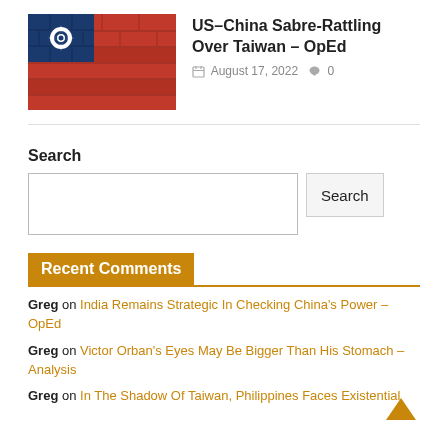[Figure (photo): Taiwan flag painted on bricks - red, blue, and white with sun emblem]
US–China Sabre-Rattling Over Taiwan – OpEd
August 17, 2022  0
Search
Search input box and Search button
Recent Comments
Greg on India Remains Strategic In Checking China's Power – OpEd
Greg on Victor Orban's Eyes May Be Bigger Than His Stomach – Analysis
Greg on In The Shadow Of Taiwan, Philippines Faces Existential